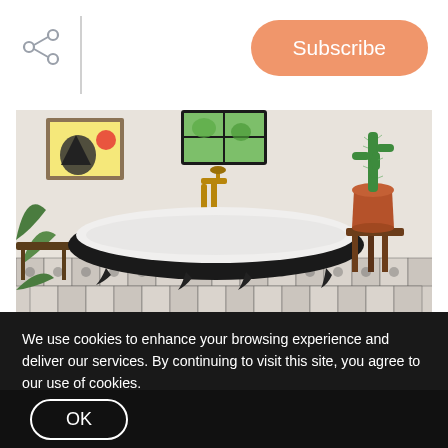[Figure (other): Share icon (three connected dots) on the left of the header bar]
[Figure (other): Subscribe button with rounded pill shape and salmon/orange background color in the top-right header area]
[Figure (photo): Bathroom photo showing a black clawfoot bathtub with white interior on black-and-white patterned tile floor. Gold faucet fixture beside the tub. Artwork on left wall. Small cactus in terracotta pot on wooden stand at right. Green plant visible on left. Window at top center.]
We use cookies to enhance your browsing experience and deliver our services. By continuing to visit this site, you agree to our use of cookies.
More info
OK